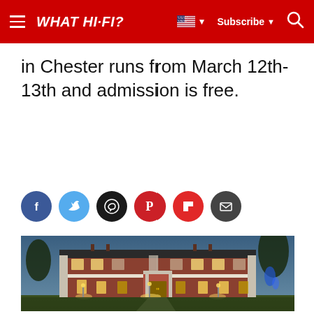WHAT HI-FI? | Subscribe | Search
in Chester runs from March 12th-13th and admission is free.
[Figure (infographic): Social sharing icons: Facebook, Twitter, WhatsApp, Pinterest, Flipboard, Email]
[Figure (photo): Illuminated red-brick Georgian manor house photographed at dusk, with grounds and trees visible.]